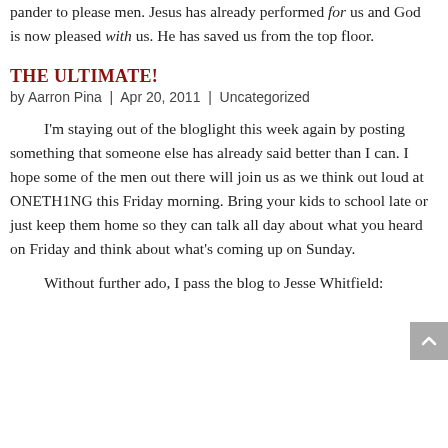pander to please men. Jesus has already performed for us and God is now pleased with us. He has saved us from the top floor.
THE ULTIMATE!
by Aarron Pina  |  Apr 20, 2011  |  Uncategorized
I'm staying out of the bloglight this week again by posting something that someone else has already said better than I can. I hope some of the men out there will join us as we think out loud at ONETH1NG this Friday morning. Bring your kids to school late or just keep them home so they can talk all day about what you heard on Friday and think about what's coming up on Sunday.
Without further ado, I pass the blog to Jesse Whitfield: